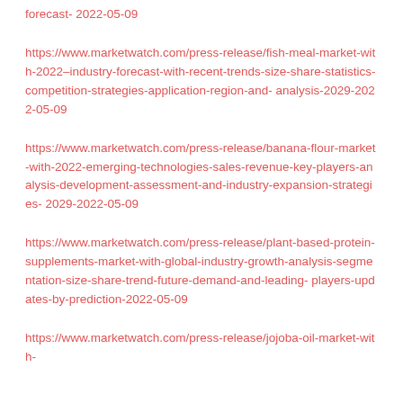forecast- 2022-05-09
https://www.marketwatch.com/press-release/fish-meal-market-with-2022–industry-forecast-with-recent-trends-size-share-statistics-competition-strategies-application-region-and- analysis-2029-2022-05-09
https://www.marketwatch.com/press-release/banana-flour-market-with-2022-emerging-technologies-sales-revenue-key-players-analysis-development-assessment-and-industry-expansion-strategies- 2029-2022-05-09
https://www.marketwatch.com/press-release/plant-based-protein-supplements-market-with-global-industry-growth-analysis-segmentation-size-share-trend-future-demand-and-leading- players-updates-by-prediction-2022-05-09
https://www.marketwatch.com/press-release/jojoba-oil-market-with-